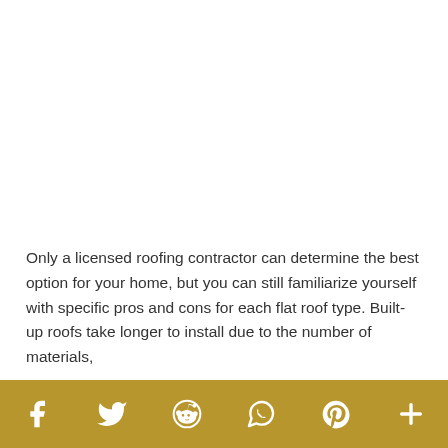Only a licensed roofing contractor can determine the best option for your home, but you can still familiarize yourself with specific pros and cons for each flat roof type. Built-up roofs take longer to install due to the number of materials,
[Figure (other): Social sharing bar with icons for Facebook, Twitter, Reddit, WhatsApp, Pinterest, and a plus/more button on a gold/tan background]